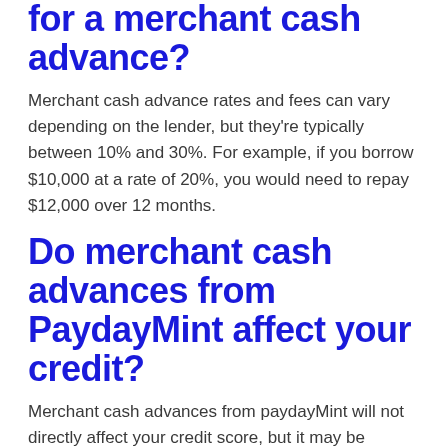for a merchant cash advance?
Merchant cash advance rates and fees can vary depending on the lender, but they're typically between 10% and 30%. For example, if you borrow $10,000 at a rate of 20%, you would need to repay $12,000 over 12 months.
Do merchant cash advances from PaydayMint affect your credit?
Merchant cash advances from paydayMint will not directly affect your credit score, but it may be reported to the credit bureaus if you default on the loan. Therefore, ensure a repayment plan before taking this loan to avoid ruining your credit score. If you repay according to the agreement, some lenders will report the repayments to the credit bureaus, which may help improve your credit.
Are PaydayMint's Merchant